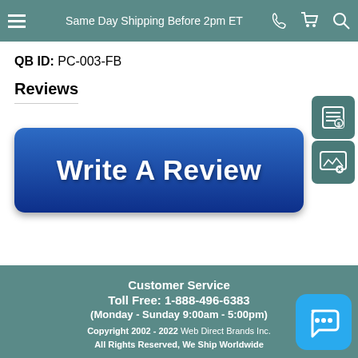Same Day Shipping Before 2pm ET
QB ID: PC-003-FB
Reviews
[Figure (screenshot): Blue 'Write A Review' button with gradient background and rounded corners]
Customer Service
Toll Free: 1-888-496-6383
(Monday - Sunday 9:00am - 5:00pm)
Copyright 2002 - 2022 Web Direct Brands Inc. All Rights Reserved, We Ship Worldwide